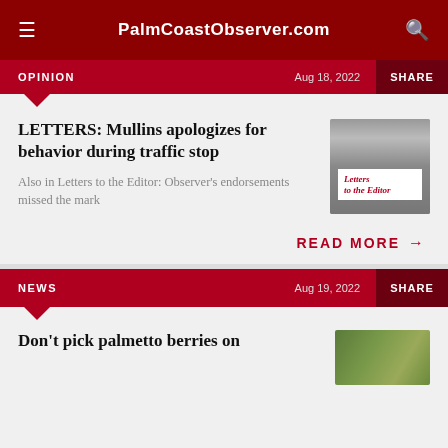PalmCoastObserver.com
OPINION  Aug 18, 2022  SHARE
LETTERS: Mullins apologizes for behavior during traffic stop
Also in Letters to the Editor: Observer's endorsements missed the mark
[Figure (photo): Typewriter with paper showing 'Letters to the Editor' text in red]
READ MORE →
NEWS  Aug 19, 2022  SHARE
Don't pick palmetto berries on